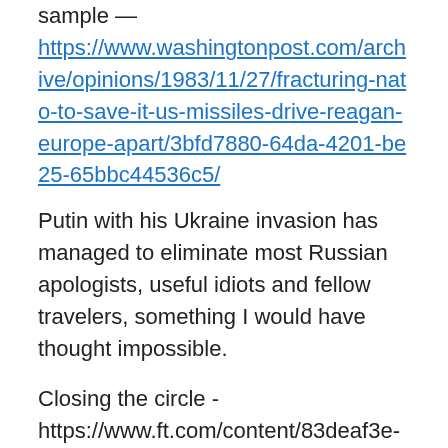sample — https://www.washingtonpost.com/archive/opinions/1983/11/27/fracturing-nato-to-save-it-us-missiles-drive-reagan-europe-apart/3bfd7880-64da-4201-be25-65bbc44536c5/
Putin with his Ukraine invasion has managed to eliminate most Russian apologists, useful idiots and fellow travelers, something I would have thought impossible.
Closing the circle -https://www.ft.com/content/83deaf3e-6db9-43dd-a2dc-5e9493265c2d — both Finland and Sweden are sending weapons to the Ukraine, and polls indicate that majority of citizens in both countries favor joining NATO.
On a more personal note, the talk of war and possible US involvement in the fighting has brought back unwanted